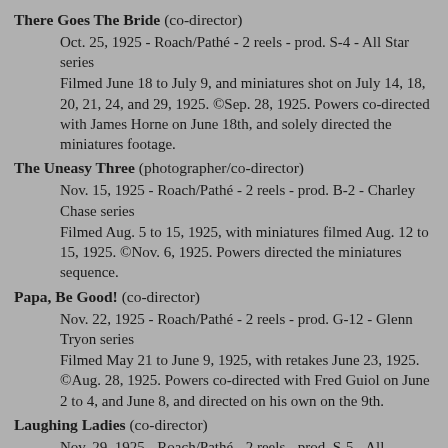There Goes The Bride (co-director)
Oct. 25, 1925 - Roach/Pathé - 2 reels - prod. S-4 - All Star series
Filmed June 18 to July 9, and miniatures shot on July 14, 18, 20, 21, 24, and 29, 1925. ©Sep. 28, 1925. Powers co-directed with James Horne on June 18th, and solely directed the miniatures footage.
The Uneasy Three (photographer/co-director)
Nov. 15, 1925 - Roach/Pathé - 2 reels - prod. B-2 - Charley Chase series
Filmed Aug. 5 to 15, 1925, with miniatures filmed Aug. 12 to 15, 1925. ©Nov. 6, 1925. Powers directed the miniatures sequence.
Papa, Be Good! (co-director)
Nov. 22, 1925 - Roach/Pathé - 2 reels - prod. G-12 - Glenn Tryon series
Filmed May 21 to June 9, 1925, with retakes June 23, 1925. ©Aug. 28, 1925. Powers co-directed with Fred Guiol on June 2 to 4, and June 8, and directed on his own on the 9th.
Laughing Ladies (co-director)
Nov. 29, 1925 - Roach/Pathé - 2 reels - prod. S-5 - All...